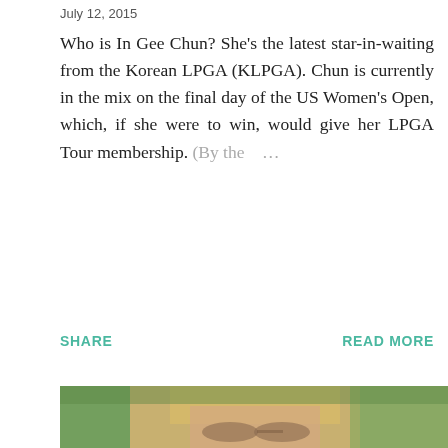July 12, 2015
Who is In Gee Chun? She's the latest star-in-waiting from the Korean LPGA (KLPGA). Chun is currently in the mix on the final day of the US Women's Open, which, if she were to win, would give her LPGA Tour membership. (By the …
SHARE
READ MORE
[Figure (photo): Cropped photo of a blonde woman wearing aviator sunglasses, with trees in the background (green and blurred). The image is partially visible at the bottom of the page.]